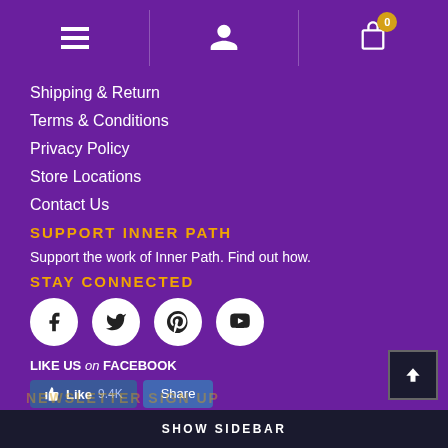Navigation header with hamburger menu, user icon, and shopping bag icon with badge 0
Shipping & Return
Terms & Conditions
Privacy Policy
Store Locations
Contact Us
SUPPORT INNER PATH
Support the work of Inner Path. Find out how.
STAY CONNECTED
[Figure (infographic): Four social media icon circles: Facebook, Twitter, Pinterest, YouTube]
LIKE US on FACEBOOK
[Figure (screenshot): Facebook Like button showing 9.4K likes and a Share button]
SHOW SIDEBAR
NEWSLETTER SIGN UP